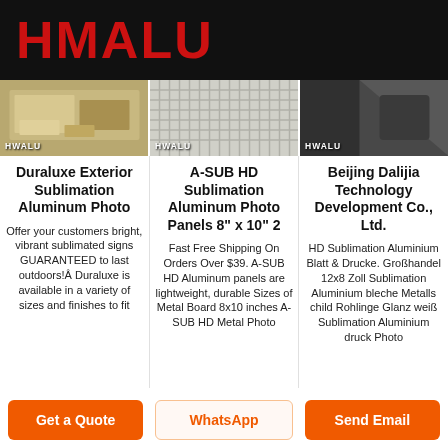HMALU
[Figure (photo): Three product/material photos side by side with HWALU watermark labels]
Duraluxe Exterior Sublimation Aluminum Photo
A-SUB HD Sublimation Aluminum Photo Panels 8" x 10" 2
Beijing Dalijia Technology Development Co., Ltd.
Offer your customers bright, vibrant sublimated signs GUARANTEED to last outdoors! Duraluxe is available in a variety of sizes and finishes to fit
Fast Free Shipping On Orders Over $39. A-SUB HD Aluminum panels are lightweight, durable Sizes of Metal Board 8x10 inches A-SUB HD Metal Photo
HD Sublimation Aluminium Blatt & Drucke. Großhandel 12x8 Zoll Sublimation Aluminium bleche Metalls child Rohlinge Glanz weiß Sublimation Aluminium druck Photo
Get a Quote
WhatsApp
Send Email